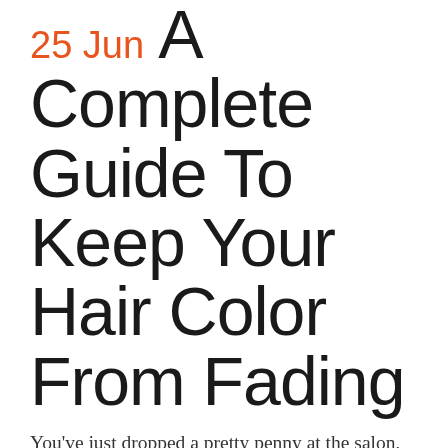25 Jun A Complete Guide To Keep Your Hair Color From Fading
You've just dropped a pretty penny at the salon, but emerged with a vibrant, glossy new color (yay!). The last thing you want to do is cause it to fade prematurely—unfortunately, you could be unknowingly doing just that (boo!). Luckily, we got the scoop from celebrity colorist, Sharon Dorram, and asked her about the rules of